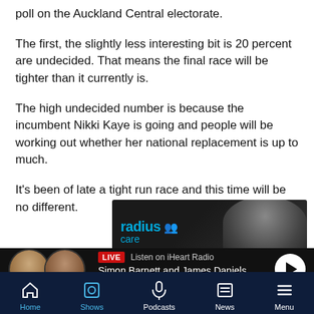poll on the Auckland Central electorate.
The first, the slightly less interesting bit is 20 percent are undecided. That means the final race will be tighter than it currently is.
The high undecided number is because the incumbent Nikki Kaye is going and people will be working out whether her national replacement is up to much.
It's been of late a tight run race and this time will be no different.
[Figure (screenshot): Radius Care advertisement banner with logo and a person in the background]
[Figure (screenshot): LIVE radio bar showing Simon Barnett and James Daniels Afternoons on iHeart Radio with play button]
[Figure (screenshot): Navigation bar with Home, Shows, Podcasts, News, Menu icons]